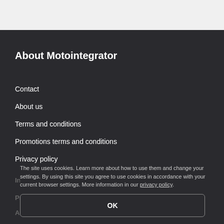[Figure (screenshot): Top grey navigation bar of a mobile browser]
About Motointegrator
Contact
About us
Terms and conditions
Promotions terms and conditions
Privacy policy
The site uses cookies. Learn more about how to use them and change your settings. By using this site you agree to use cookies in accordance with your current browser settings. More information in our privacy policy.
OK
Information
Promotions
All services